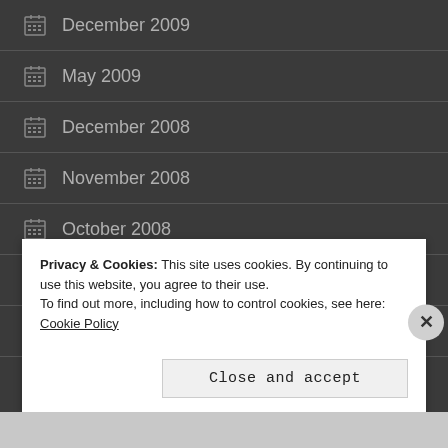December 2009
May 2009
December 2008
November 2008
October 2008
September 2008
November 2006
Privacy & Cookies: This site uses cookies. By continuing to use this website, you agree to their use. To find out more, including how to control cookies, see here: Cookie Policy
Close and accept